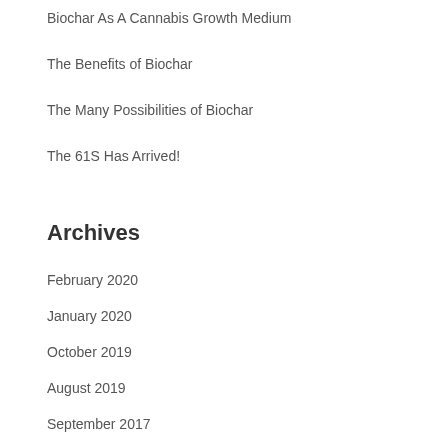Biochar As A Cannabis Growth Medium
The Benefits of Biochar
The Many Possibilities of Biochar
The 61S Has Arrived!
Archives
February 2020
January 2020
October 2019
August 2019
September 2017
July 2017
February 2017
August 2016
July 2016